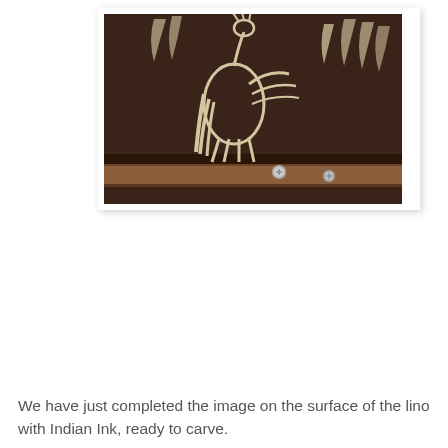[Figure (photo): A photograph of a lino block with a design of a rooster/bird drawn in white/cream lines on a dark brown background. The lino block rests on a wooden surface with two small metal bolts/screws visible.]
We have just completed the image on the surface of the lino with Indian Ink, ready to carve.